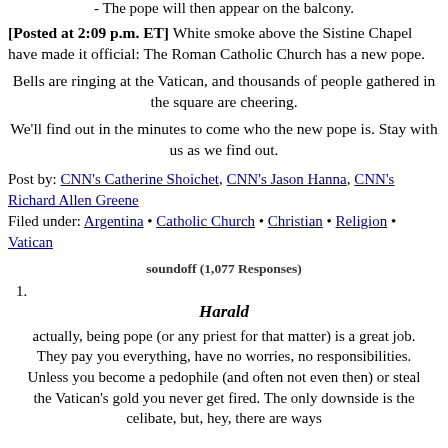- The pope will then appear on the balcony.
[Posted at 2:09 p.m. ET] White smoke above the Sistine Chapel have made it official: The Roman Catholic Church has a new pope.
Bells are ringing at the Vatican, and thousands of people gathered in the square are cheering.
We'll find out in the minutes to come who the new pope is. Stay with us as we find out.
Post by: CNN's Catherine Shoichet, CNN's Jason Hanna, CNN's Richard Allen Greene
Filed under: Argentina • Catholic Church • Christian • Religion • Vatican
soundoff (1,077 Responses)
1. Harald
actually, being pope (or any priest for that matter) is a great job. They pay you everything, have no worries, no responsibilities. Unless you become a pedophile (and often not even then) or steal the Vatican's gold you never get fired. The only downside is the celibate, but, hey, there are ways